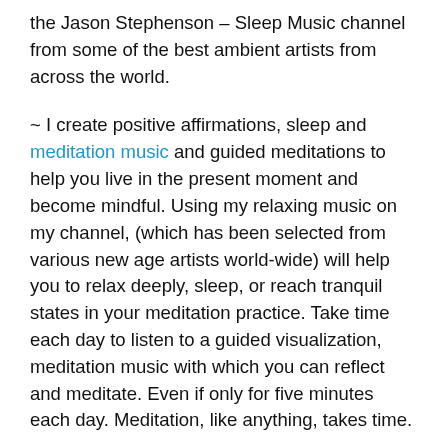the Jason Stephenson – Sleep Music channel from some of the best ambient artists from across the world.
~ I create positive affirmations, sleep and meditation music and guided meditations to help you live in the present moment and become mindful. Using my relaxing music on my channel, (which has been selected from various new age artists world-wide) will help you to relax deeply, sleep, or reach tranquil states in your meditation practice. Take time each day to listen to a guided visualization, meditation music with which you can reflect and meditate. Even if only for five minutes each day. Meditation, like anything, takes time.
~ The music I select is music from various ambient and new age artists across the world that I love...